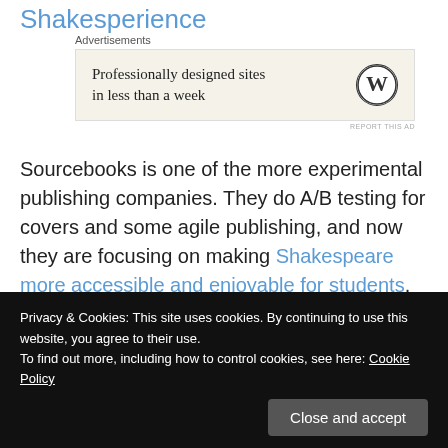Shakesperience
[Figure (other): WordPress advertisement banner: 'Professionally designed sites in less than a week' with WordPress logo. Labeled 'Advertisements' above and 'REPORT THIS AD' below.]
Sourcebooks is one of the more experimental publishing companies. They do A/B testing for covers and some agile publishing, and now they are focusing on making Shakespeare more accessible and enjoyable for students. Using iBooks, they have turned Shakespeare's plays into basically an app, with audio, video, photos, and illustrations.
Privacy & Cookies: This site uses cookies. By continuing to use this website, you agree to their use.
To find out more, including how to control cookies, see here: Cookie Policy